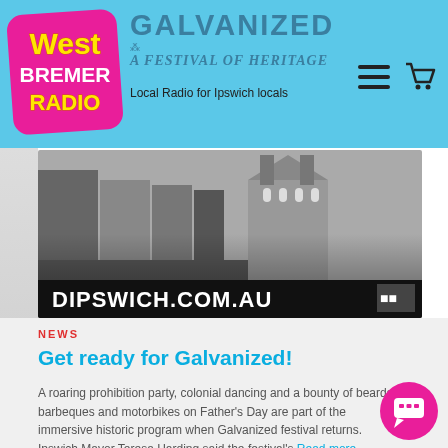[Figure (logo): West Bremer Radio logo on pink/magenta rounded rectangle badge with yellow 'West', white 'BREMER', yellow 'RADIO' text]
GALVANIZED
A FESTIVAL OF HERITAGE
Local Radio for Ipswich locals
[Figure (photo): Black and white banner photo of Ipswich historic street and church buildings with DIPSWICH.COM.AU text overlay on black banner]
NEWS
Get ready for Galvanized!
A roaring prohibition party, colonial dancing and a bounty of beards, barbeques and motorbikes on Father's Day are part of the immersive historic program when Galvanized festival returns. Ipswich Mayor Teresa Harding said the festival's Read more…